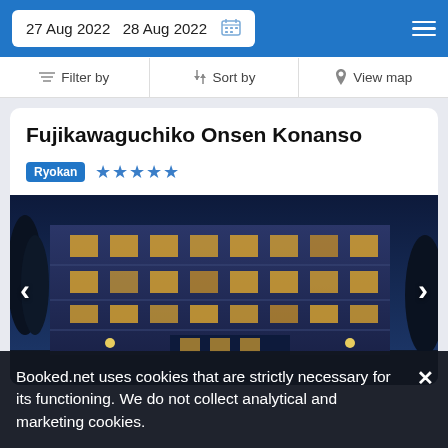27 Aug 2022  28 Aug 2022
Filter by  Sort by  View map
Fujikawaguchiko Onsen Konanso
Ryokan ★★★★★
[Figure (photo): Nighttime exterior photo of Fujikawaguchiko Onsen Konanso, a multi-storey Japanese ryokan hotel with illuminated windows against a dark blue evening sky.]
Booked.net uses cookies that are strictly necessary for its functioning. We do not collect analytical and marketing cookies.